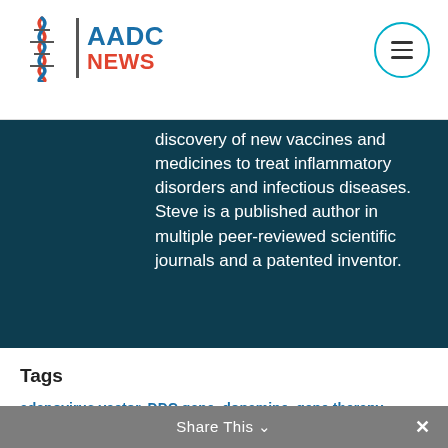[Figure (logo): AADC News logo with DNA helix icon, blue AADC and red NEWS text]
discovery of new vaccines and medicines to treat inflammatory disorders and infectious diseases. Steve is a published author in multiple peer-reviewed scientific journals and a patented inventor.
Tags
adenovirus vector, DDC gene, dopamine, gene therapy, PTC Therapeutics, PTC-AADC, review study, serotonin
Share This ∨  ✕